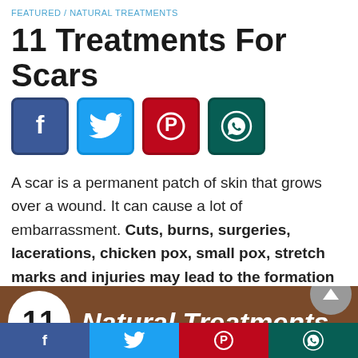FEATURED / NATURAL TREATMENTS
11 Treatments For Scars
[Figure (infographic): Social media share buttons: Facebook, Twitter, Pinterest, WhatsApp]
A scar is a permanent patch of skin that grows over a wound. It can cause a lot of embarrassment. Cuts, burns, surgeries, lacerations, chicken pox, small pox, stretch marks and injuries may lead to the formation of scars.
[Figure (infographic): Infographic banner showing '11 Natural Treatments' with a circular white badge and brown background]
[Figure (infographic): Bottom social media share bar: Facebook, Twitter, Pinterest, WhatsApp]